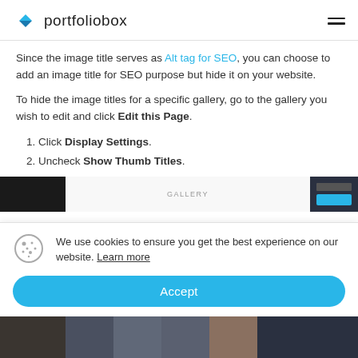portfoliobox
Since the image title serves as Alt tag for SEO, you can choose to add an image title for SEO purpose but hide it on your website.
To hide the image titles for a specific gallery, go to the gallery you wish to edit and click Edit this Page.
1. Click Display Settings.
2. Uncheck Show Thumb Titles.
[Figure (screenshot): Screenshot showing the Portfoliobox gallery editor interface with a GALLERY label in the center panel and dark sidebar on the right.]
We use cookies to ensure you get the best experience on our website. Learn more
[Figure (screenshot): Bottom strip showing thumbnail images of a gallery in the Portfoliobox editor.]